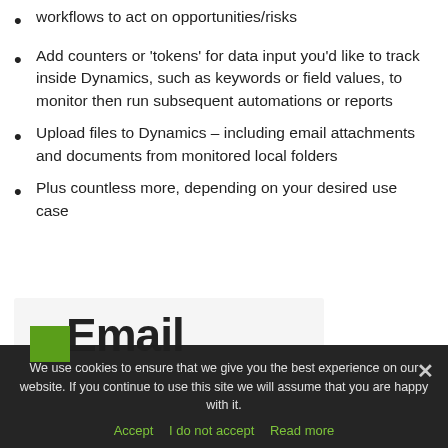workflows to act on opportunities/risks
Add counters or ‘tokens’ for data input you’d like to track inside Dynamics, such as keywords or field values, to monitor then run subsequent automations or reports
Upload files to Dynamics – including email attachments and documents from monitored local folders
Plus countless more, depending on your desired use case
[Figure (screenshot): Partial view of an 'Email' section card with green logo box and large bold 'Email' text on a light grey background]
We use cookies to ensure that we give you the best experience on our website. If you continue to use this site we will assume that you are happy with it.
Accept  I do not accept  Read more